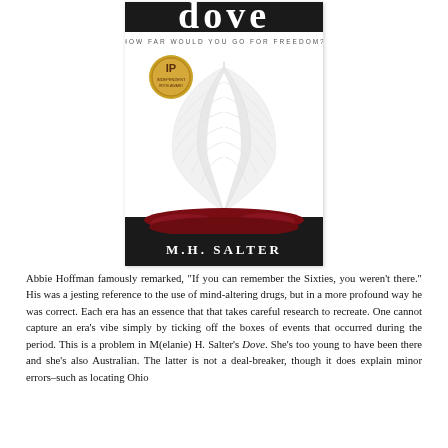[Figure (illustration): Book cover of 'Dove' by M.H. Salter. Shows a white feather on a dark red/blood background at the bottom, with a gold IP award medal in the upper left. Subtitle reads 'HOW FAR WOULD YOU GO FOR FREEDOM?']
Abbie Hoffman famously remarked, "If you can remember the Sixties, you weren't there." His was a jesting reference to the use of mind-altering drugs, but in a more profound way he was correct. Each era has an essence that that takes careful research to recreate. One cannot capture an era's vibe simply by ticking off the boxes of events that occurred during the period. This is a problem in M(elanie) H. Salter's Dove. She's too young to have been there and she's also Australian. The latter is not a deal-breaker, though it does explain minor errors–such as locating Ohio